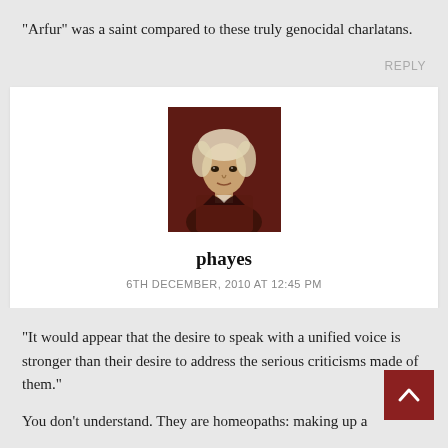“Arfur” was a saint compared to these truly genocidal charlatans.
REPLY
[Figure (photo): Avatar/profile picture of commenter phayes: a painted or sepia-toned portrait of a man with wild light hair and intense expression]
phayes
6TH DECEMBER, 2010 AT 12:45 PM
“It would appear that the desire to speak with a unified voice is stronger than their desire to address the serious criticisms made of them.”
You don’t understand. They are homeopaths: making up a